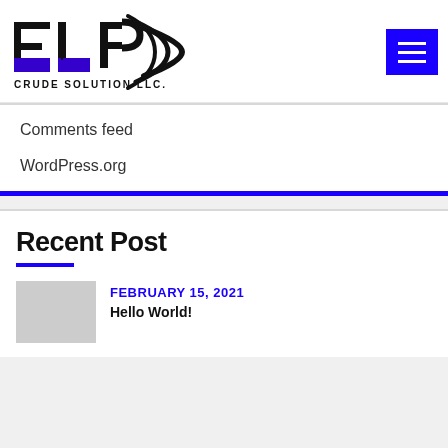[Figure (logo): ELP Crude Solution LLC logo with stylized ELP letters in black and purple, wifi/signal arc symbol, and company name below]
Comments feed
WordPress.org
Recent Post
FEBRUARY 15, 2021
Hello World!